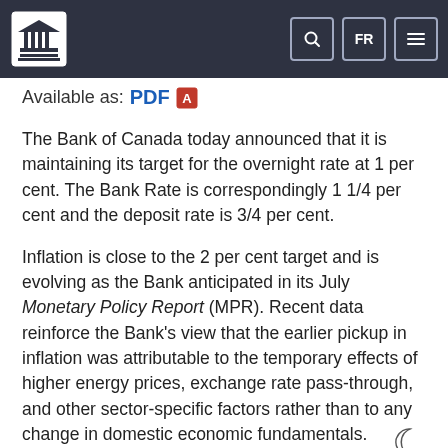Bank of Canada header with logo, search, FR, and menu icons
Available as: PDF
The Bank of Canada today announced that it is maintaining its target for the overnight rate at 1 per cent. The Bank Rate is correspondingly 1 1/4 per cent and the deposit rate is 3/4 per cent.
Inflation is close to the 2 per cent target and is evolving as the Bank anticipated in its July Monetary Policy Report (MPR). Recent data reinforce the Bank's view that the earlier pickup in inflation was attributable to the temporary effects of higher energy prices, exchange rate pass-through, and other sector-specific factors rather than to any change in domestic economic fundamentals.
The global economy is performing largely as expected.